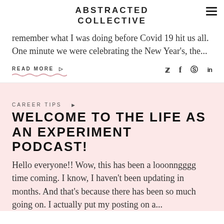ABSTRACTED COLLECTIVE
remember what I was doing before Covid 19 hit us all. One minute we were celebrating the New Year's, the...
READ MORE ▷
CAREER TIPS ▶
WELCOME TO THE LIFE AS AN EXPERIMENT PODCAST!
Hello everyone!! Wow, this has been a looonngggg time coming. I know, I haven't been updating in months. And that's because there has been so much going on. I actually put my posting on a...